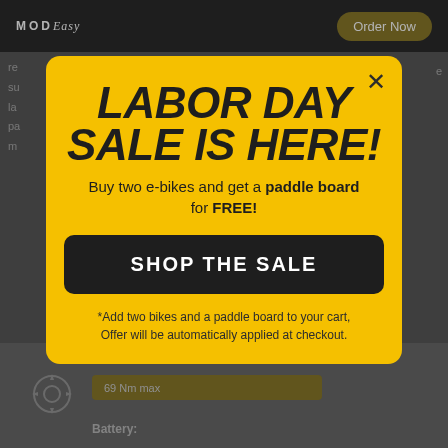MOD Easy | Order Now
re su la pa m
[Figure (screenshot): Yellow popup modal overlay on a darkened e-bike product page. Modal shows Labor Day Sale promotion.]
LABOR DAY SALE IS HERE!
Buy two e-bikes and get a paddle board for FREE!
SHOP THE SALE
*Add two bikes and a paddle board to your cart, Offer will be automatically applied at checkout.
69 Nm max
Battery: